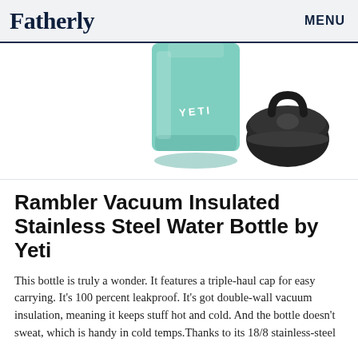Fatherly   MENU
[Figure (photo): A mint/seafoam green YETI Rambler water bottle next to a black lid/cap, displayed on a white background.]
Rambler Vacuum Insulated Stainless Steel Water Bottle by Yeti
This bottle is truly a wonder. It features a triple-haul cap for easy carrying. It's 100 percent leakproof. It's got double-wall vacuum insulation, meaning it keeps stuff hot and cold. And the bottle doesn't sweat, which is handy in cold temps.Thanks to its 18/8 stainless-steel